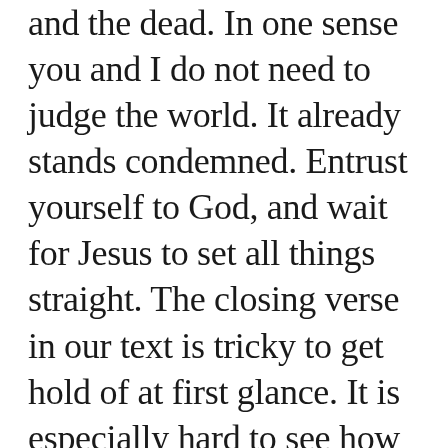and the dead. In one sense you and I do not need to judge the world. It already stands condemned. Entrust yourself to God, and wait for Jesus to set all things straight. The closing verse in our text is tricky to get hold of at first glance. It is especially hard to see how it functions as an encouraging word to